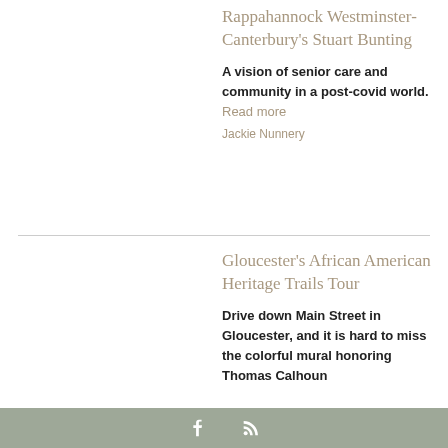Rappahannock Westminster-Canterbury's Stuart Bunting
A vision of senior care and community in a post-covid world. Read more
Jackie Nunnery
Gloucester's African American Heritage Trails Tour
Drive down Main Street in Gloucester, and it is hard to miss the colorful mural honoring Thomas Calhoun
f  [rss icon]